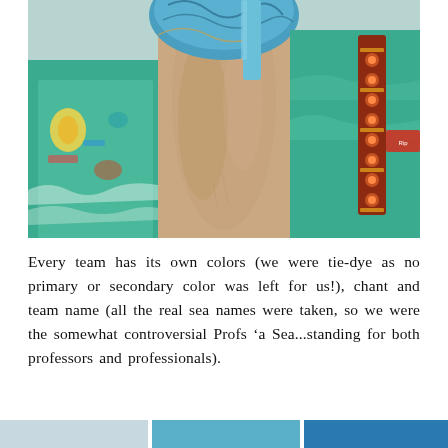[Figure (photo): Close-up photo of a person's neck and chest, wearing an open teal/green Hawaiian-style shirt with colorful print, a blue patterned hat or mask covering the face, and a colorful woven strap visible on the right side.]
Every team has its own colors (we were tie-dye as no primary or secondary color was left for us!), chant and team name (all the real sea names were taken, so we were the somewhat controversial Profs 'a Sea...standing for both professors and professionals).
[Figure (photo): Partial bottom strip showing fragments of additional photos.]